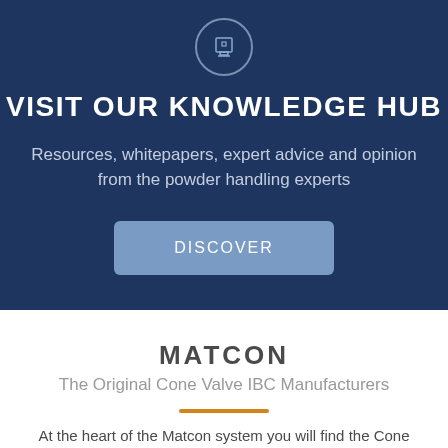[Figure (illustration): Circular icon with a document/screen symbol inside, rendered in outline style on dark navy background]
VISIT OUR KNOWLEDGE HUB
Resources, whitepapers, expert advice and opinion from the powder handling experts
DISCOVER
MATCON
The Original Cone Valve IBC Manufacturers
At the heart of the Matcon system you will find the Cone